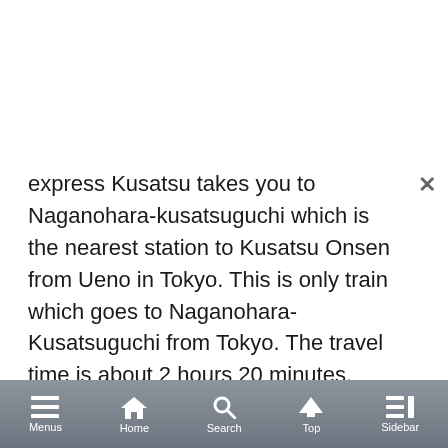express Kusatsu takes you to Naganohara-kusatsuguchi which is the nearest station to Kusatsu Onsen from Ueno in Tokyo. This is only train which goes to Naganohara-Kusatsuguchi from Tokyo. The travel time is about 2 hours 20 minutes. Please see the post below to find the information about the limited express Kusatsu:
[Figure (screenshot): A card/link preview showing a silver limited express train (Kusatsu) on tracks, with title 'The limited express Kusatsu train guide. The direct access to Kusatsu-Onsen from Ueno, Tokyo' and a short description text.]